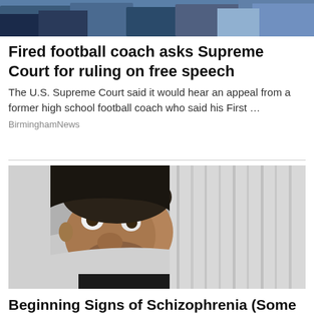[Figure (photo): Partial top image of people, cropped at top of page]
Fired football coach asks Supreme Court for ruling on free speech
The U.S. Supreme Court said it would hear an appeal from a former high school football coach who said his First …
BirminghamNews
[Figure (photo): Man with wide startled eyes peeking over edge of blanket or pillow, lying in bed]
Beginning Signs of Schizophrenia (Some May